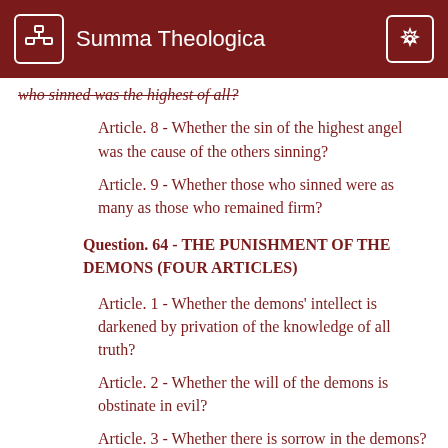Summa Theologica
who sinned was the highest of all?
Article. 8 - Whether the sin of the highest angel was the cause of the others sinning?
Article. 9 - Whether those who sinned were as many as those who remained firm?
Question. 64 - THE PUNISHMENT OF THE DEMONS (FOUR ARTICLES)
Article. 1 - Whether the demons' intellect is darkened by privation of the knowledge of all truth?
Article. 2 - Whether the will of the demons is obstinate in evil?
Article. 3 - Whether there is sorrow in the demons?
Article. 4 - Whether our atmosphere is the demons'